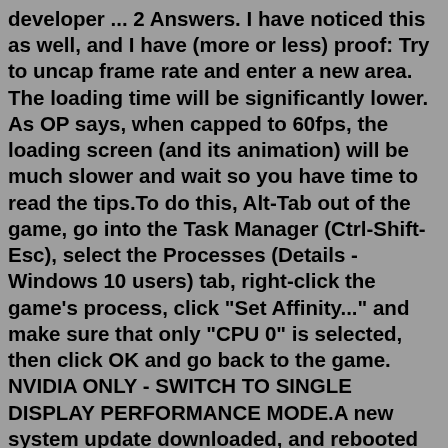developer ... 2 Answers. I have noticed this as well, and I have (more or less) proof: Try to uncap frame rate and enter a new area. The loading time will be significantly lower. As OP says, when capped to 60fps, the loading screen (and its animation) will be much slower and wait so you have time to read the tips.To do this, Alt-Tab out of the game, go into the Task Manager (Ctrl-Shift-Esc), select the Processes (Details - Windows 10 users) tab, right-click the game's process, click "Set Affinity..." and make sure that only "CPU 0" is selected, then click OK and go back to the game. NVIDIA ONLY - SWITCH TO SINGLE DISPLAY PERFORMANCE MODE.A new system update downloaded, and rebooted the console. Now the elevator works properly — though oddly enough, the music mentioned in the earlier draft of this article never plays. In either ...There is a known bug in Fallout 4 that pops up when you try and play the game at a frame rate higher than 60. One way to combat this is to change a couple of...Force vsync for fallout 4 to avoid loading screen bugs? MMidji...